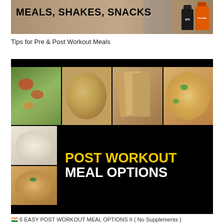[Figure (photo): Banner image with text 'MEALS, SHAKES, SNACKS' overlaid on a background with protein supplement bottles (XPS dark bottle and orange Prozein bottle)]
Tips for Pre & Post Workout Meals
[Figure (photo): Collage of post workout meal options on black background: top row shows four food images (vegetable salad, round paratha/bread, toast slices, spicy rice dish); bottom section shows two smaller food images on left (plain rice in bowl, spiced rice/poha) and large yellow/white text on black background reading 'POST WORKOUT MEAL OPTIONS']
🇮🇳 6 EASY POST WORKOUT MEAL OPTIONS II ( No Supplements )